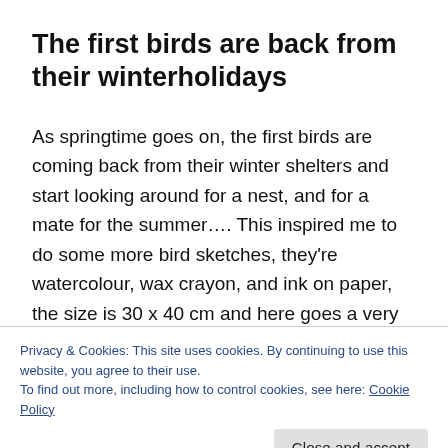The first birds are back from their winterholidays
As springtime goes on, the first birds are coming back from their winter shelters and start looking around for a nest, and for a mate for the summer…. This inspired me to do some more bird sketches, they're watercolour, wax crayon, and ink on paper, the size is 30 x 40 cm and here goes a very decorated one that is single mother and really wants to find a bird in her life
Privacy & Cookies: This site uses cookies. By continuing to use this website, you agree to their use.
To find out more, including how to control cookies, see here: Cookie Policy
Close and accept
de sus vacaciones de invierno, y empiezan a buscar